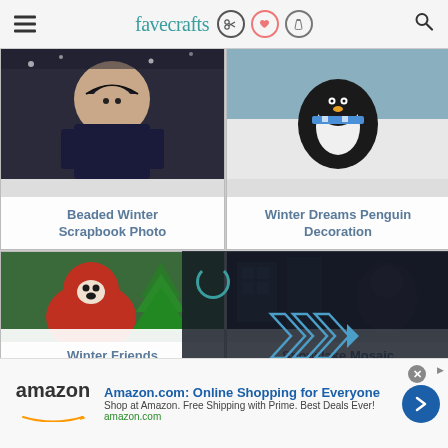favecrafts
[Figure (photo): Beaded Winter Scrapbook Photo - child in dark winter coat with snow]
Beaded Winter Scrapbook Photo
[Figure (photo): Winter Dreams Penguin Decoration - penguin decoration with snowflake scarf]
Winter Dreams Penguin Decoration
[Figure (photo): Winter Friends - red bear stuffed animal with green Christmas tree]
Winter Friends
[Figure (photo): Snowflake Mosaic - video overlay with play button showing dark room]
Snowflake Mosaic
[Figure (other): Amazon.com advertisement banner: Online Shopping for Everyone]